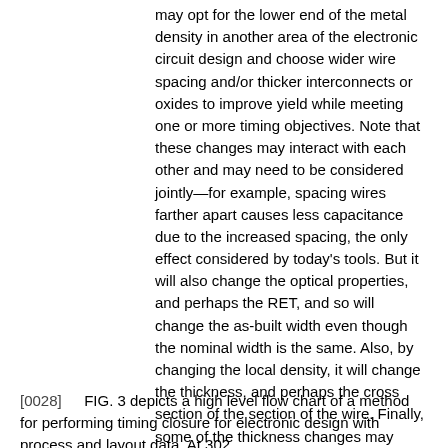may opt for the lower end of the metal density in another area of the electronic circuit design and choose wider wire spacing and/or thicker interconnects or oxides to improve yield while meeting one or more timing objectives. Note that these changes may interact with each other and may need to be considered jointly—for example, spacing wires farther apart causes less capacitance due to the increased spacing, the only effect considered by today's tools. But it will also change the optical properties, and perhaps the RET, and so will change the as-built width even though the nominal width is the same. Also, by changing the local density, it will change the thickness, and perhaps the cross section of the section of the wire. Finally, some of the thickness changes may propagate to the next level, causing changes due to varying focus. Accurate estimates of timing may require all these effects to be considered together.
[0028] FIG. 3 depicts a high level flow chart of a method for performing timing closure for electronic design with process and layout data. At 302,